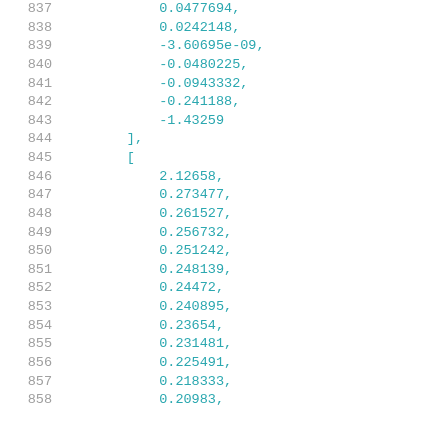837    0.0477694,
838    0.0242148,
839    -3.60695e-09,
840    -0.0480225,
841    -0.0943332,
842    -0.241188,
843    -1.43259
844    ],
845    [
846    2.12658,
847    0.273477,
848    0.261527,
849    0.256732,
850    0.251242,
851    0.248139,
852    0.24472,
853    0.240895,
854    0.23654,
855    0.231481,
856    0.225491,
857    0.218333,
858    0.20983,